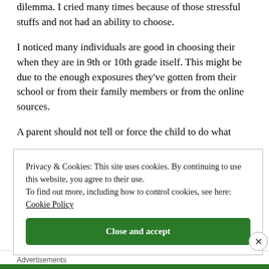dilemma. I cried many times because of those stressful stuffs and not had an ability to choose.
I noticed many individuals are good in choosing their when they are in 9th or 10th grade itself. This might be due to the enough exposures they've gotten from their school or from their family members or from the online sources.
A parent should not tell or force the child to do what
Privacy & Cookies: This site uses cookies. By continuing to use this website, you agree to their use.
To find out more, including how to control cookies, see here: Cookie Policy
Close and accept
Advertisements